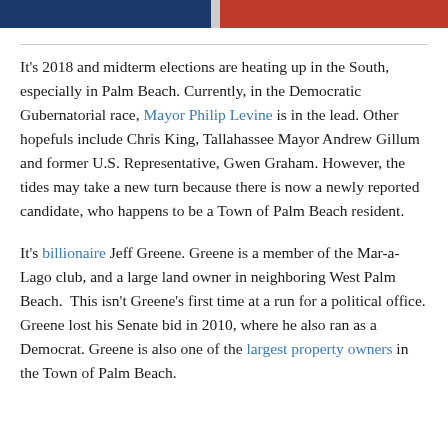[Figure (photo): Banner image at top with blue, gray, and red sections resembling a political/patriotic header]
It's 2018 and midterm elections are heating up in the South, especially in Palm Beach. Currently, in the Democratic Gubernatorial race, Mayor Philip Levine is in the lead. Other hopefuls include Chris King, Tallahassee Mayor Andrew Gillum and former U.S. Representative, Gwen Graham. However, the tides may take a new turn because there is now a newly reported candidate, who happens to be a Town of Palm Beach resident.
It's billionaire Jeff Greene. Greene is a member of the Mar-a-Lago club, and a large land owner in neighboring West Palm Beach. This isn't Greene's first time at a run for a political office. Greene lost his Senate bid in 2010, where he also ran as a Democrat. Greene is also one of the largest property owners in the Town of Palm Beach.